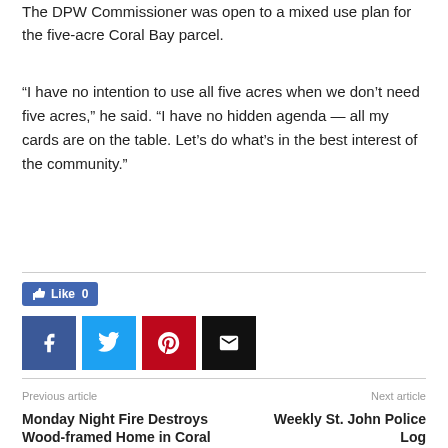The DPW Commissioner was open to a mixed use plan for the five-acre Coral Bay parcel.
“I have no intention to use all five acres when we don’t need five acres,” he said. “I have no hidden agenda — all my cards are on the table. Let’s do what’s in the best interest of the community.”
[Figure (infographic): Social sharing bar with Like button showing 0 likes, and Facebook, Twitter, Pinterest, and Email share buttons]
Previous article: Monday Night Fire Destroys Wood-framed Home in Coral Bay | Next article: Weekly St. John Police Log